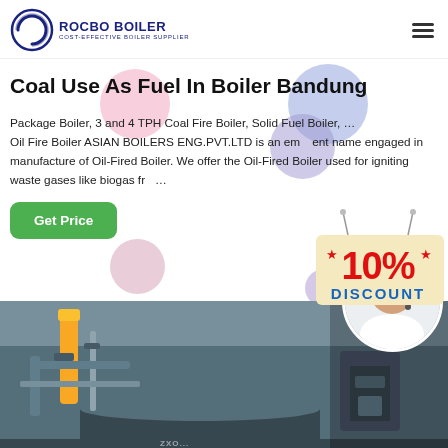ROCBO BOILER — COST-EFFECTIVE BOILER SUPPLIER
Coal Use As Fuel In Boiler Bandung
Package Boiler, 3 and 4 TPH Coal Fire Boiler, Solid Fuel Boiler, … Oil Fire Boiler ASIAN BOILERS ENG.PVT.LTD is an eminent name engaged in manufacture of Oil-Fired Boiler. We offer the Oil-Fired Boiler used for igniting waste gases like biogas fr…
[Figure (infographic): 10% DISCOUNT promotional badge overlay on the page]
[Figure (photo): Industrial boiler room equipment with pipes and machinery, with a circular inset photo of a smiling female customer service agent wearing a headset]